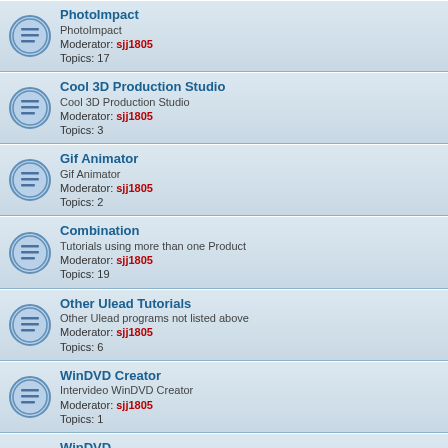PhotoImpact
PhotoImpact
Moderator: sjj1805
Topics: 17
Cool 3D Production Studio
Cool 3D Production Studio
Moderator: sjj1805
Topics: 3
Gif Animator
Gif Animator
Moderator: sjj1805
Topics: 2
Combination
Tutorials using more than one Product
Moderator: sjj1805
Topics: 19
Other Ulead Tutorials
Other Ulead programs not listed above
Moderator: sjj1805
Topics: 6
WinDVD Creator
Intervideo WinDVD Creator
Moderator: sjj1805
Topics: 1
WinDVD
Intervideo WinDVD
Moderator: sjj1805
Topics: 1
My Tutorial Competition
Back up of entries with pictures saved on my 1TB drive
Moderator: sjj1805
Topics: 22